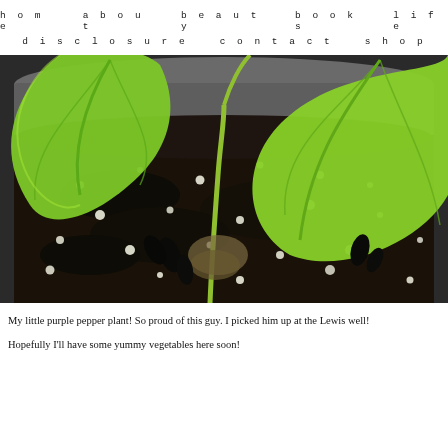home   about   beauty   books   life   disclosure   contact   shop
[Figure (photo): Close-up photo of a purple pepper plant with large bright green leaves growing in a dark potting soil mix with white perlite, in a gray plastic pot]
My little purple pepper plant! So proud of this guy. I picked him up at the Lewis well!
Hopefully I'll have some yummy vegetables here soon!